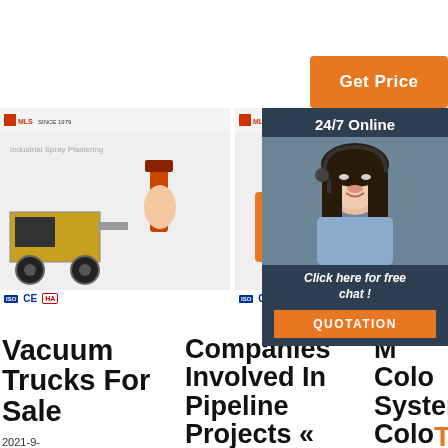[Figure (screenshot): Orange 'Get Price' button at top center]
[Figure (photo): Industrial plastering/spray machine with hand tool, MLS brand logo, ISO CE HA certifications]
[Figure (photo): Orange and blue industrial pump machine on wheels, MLS brand logo, ISO CE HA certifications]
[Figure (photo): 24/7 Online customer service chat panel with woman wearing headset, 'Click here for free chat!' text and QUOTATION button]
Vacuum Trucks For Sale
2021-9-30u2002·u2002Browse Our Trucks By
Companies Involved In Pipeline Projects « SIMDEX
M Color System: Color Matching From